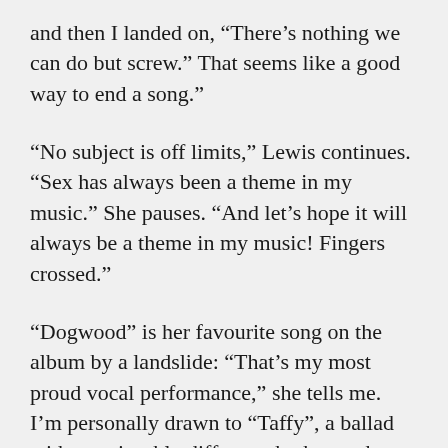and then I landed on, “There’s nothing we can do but screw.” That seems like a good way to end a song.”
“No subject is off limits,” Lewis continues. “Sex has always been a theme in my music.” She pauses. “And let’s hope it will always be a theme in my music! Fingers crossed.”
“Dogwood” is her favourite song on the album by a landslide: “That’s my most proud vocal performance,” she tells me. I’m personally drawn to “Taffy”, a ballad with a noticeably different rhythm to the rest of On the Line. It also happens to feature one of the album’s more attention-raising lyrics: “Nudie pics / I do not regret it / I know that